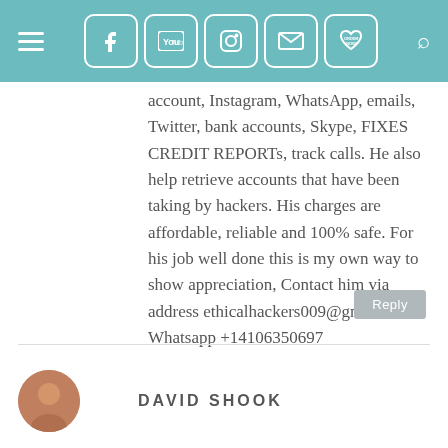Navigation bar with social media icons (Facebook, YouTube, Instagram, Email, Order Now), hamburger menu, and search icon
account, Instagram, WhatsApp, emails, Twitter, bank accounts, Skype, FIXES CREDIT REPORTs, track calls. He also help retrieve accounts that have been taking by hackers. His charges are affordable, reliable and 100% safe. For his job well done this is my own way to show appreciation, Contact him via address ethicalhackers009@gmail.com Whatsapp +14106350697
Reply
DAVID SHOOK